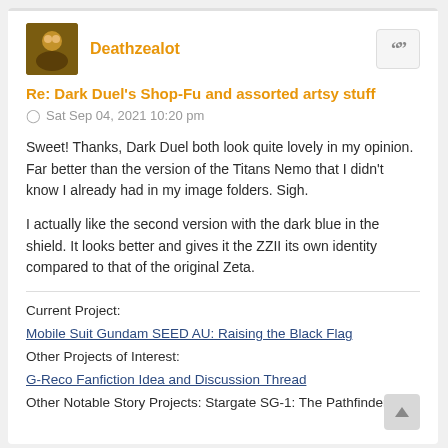Deathzealot
Re: Dark Duel's Shop-Fu and assorted artsy stuff
Sat Sep 04, 2021 10:20 pm
Sweet! Thanks, Dark Duel both look quite lovely in my opinion. Far better than the version of the Titans Nemo that I didn't know I already had in my image folders. Sigh.
I actually like the second version with the dark blue in the shield. It looks better and gives it the ZZII its own identity compared to that of the original Zeta.
Current Project:
Mobile Suit Gundam SEED AU: Raising the Black Flag
Other Projects of Interest:
G-Reco Fanfiction Idea and Discussion Thread
Other Notable Story Projects: Stargate SG-1: The Pathfinder